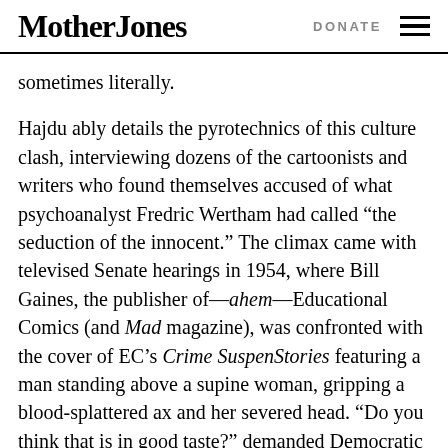Mother Jones | DONATE
sometimes literally.
Hajdu ably details the pyrotechnics of this culture clash, interviewing dozens of the cartoonists and writers who found themselves accused of what psychoanalyst Fredric Wertham had called “the seduction of the innocent.” The climax came with televised Senate hearings in 1954, where Bill Gaines, the publisher of—ahem—Educational Comics (and Mad magazine), was confronted with the cover of EC’s Crime SuspenStories featuring a man standing above a supine woman, gripping a blood-splattered ax and her severed head. “Do you think that is in good taste?” demanded Democratic presidential